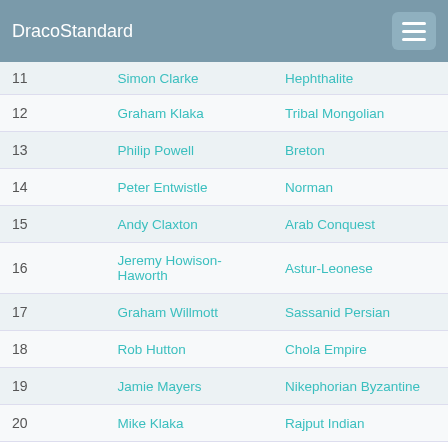DracoStandard
| # | Name | Faction |
| --- | --- | --- |
| 11 | Simon Clarke | Hephthalite |
| 12 | Graham Klaka | Tribal Mongolian |
| 13 | Philip Powell | Breton |
| 14 | Peter Entwistle | Norman |
| 15 | Andy Claxton | Arab Conquest |
| 16 | Jeremy Howison-Haworth | Astur-Leonese |
| 17 | Graham Willmott | Sassanid Persian |
| 18 | Rob Hutton | Chola Empire |
| 19 | Jamie Mayers | Nikephorian Byzantine |
| 20 | Mike Klaka | Rajput Indian |